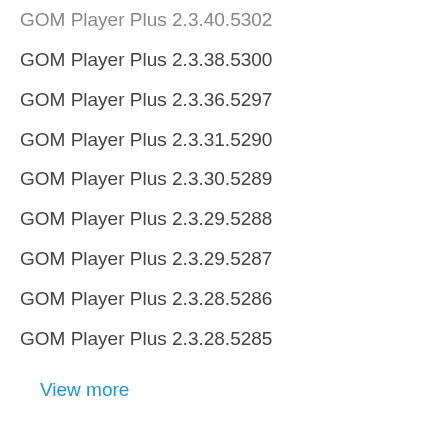GOM Player Plus 2.3.40.5302
GOM Player Plus 2.3.38.5300
GOM Player Plus 2.3.36.5297
GOM Player Plus 2.3.31.5290
GOM Player Plus 2.3.30.5289
GOM Player Plus 2.3.29.5288
GOM Player Plus 2.3.29.5287
GOM Player Plus 2.3.28.5286
GOM Player Plus 2.3.28.5285
View more